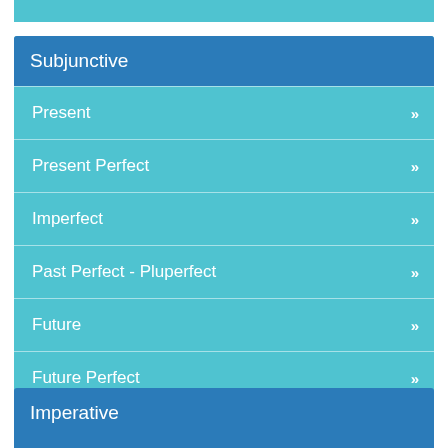Subjunctive
Present
Present Perfect
Imperfect
Past Perfect - Pluperfect
Future
Future Perfect
Imperative